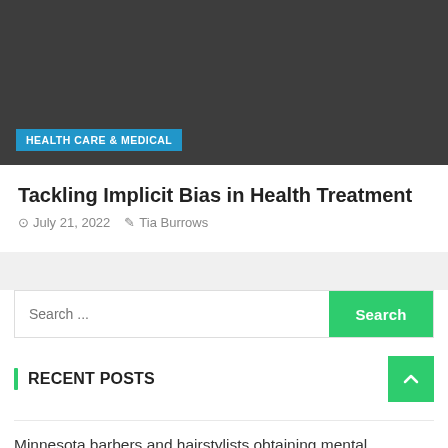[Figure (photo): Dark gray hero image background with a blue category badge reading 'HEALTH CARE & MEDICAL']
Tackling Implicit Bias in Health Treatment
July 21, 2022   Tia Burrows
Search ...
RECENT POSTS
Minnesota barbers and hairstylists obtaining mental